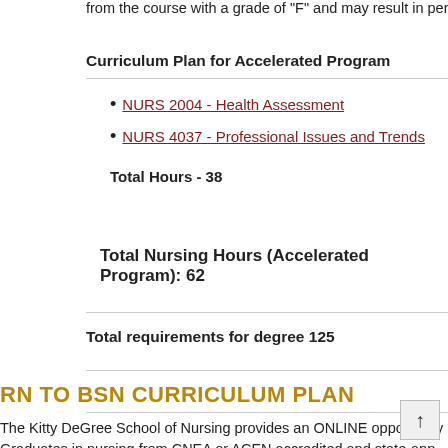from the course with a grade of "F" and may result in permanent
Curriculum Plan for Accelerated Program
NURS 2004 - Health Assessment
NURS 4037 - Professional Issues and Trends
Total Hours - 38
Total Nursing Hours (Accelerated Program): 62
Total requirements for degree 125
RN TO BSN CURRICULUM PLAN
The Kitty DeGree School of Nursing provides an ONLINE opportunit... Graduates in nursing from CNEA or ACEN accredited and state-app... practice may be awarded thirty-nine semester credit hours based on... admission to the professional program, in addition to meeting the re... nursing curriculum. An applicant to the RN program must possess a... courses excluding grades earned in developmental courses. No entr... part of the GOLD/E-ULM program.